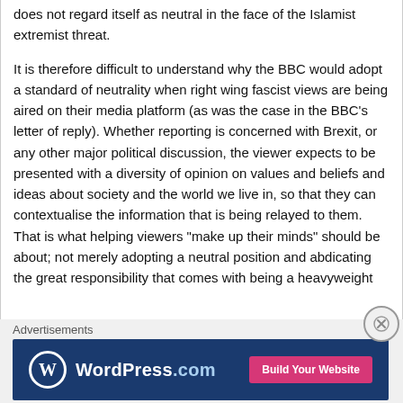does not regard itself as neutral in the face of the Islamist extremist threat.
It is therefore difficult to understand why the BBC would adopt a standard of neutrality when right wing fascist views are being aired on their media platform (as was the case in the BBC’s letter of reply). Whether reporting is concerned with Brexit, or any other major political discussion, the viewer expects to be presented with a diversity of opinion on values and beliefs and ideas about society and the world we live in, so that they can contextualise the information that is being relayed to them. That is what helping viewers “make up their minds” should be about; not merely adopting a neutral position and abdicating the great responsibility that comes with being a heavyweight
Advertisements
[Figure (other): WordPress.com advertisement banner with logo on the left and a pink 'Build Your Website' button on the right, on a dark blue background.]